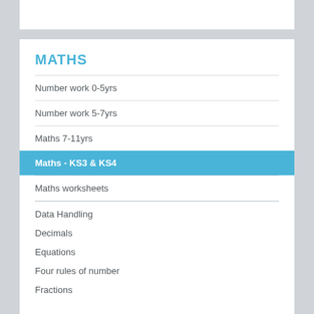MATHS
Number work 0-5yrs
Number work 5-7yrs
Maths 7-11yrs
Maths - KS3 & KS4
Maths worksheets
Data Handling
Decimals
Equations
Four rules of number
Fractions